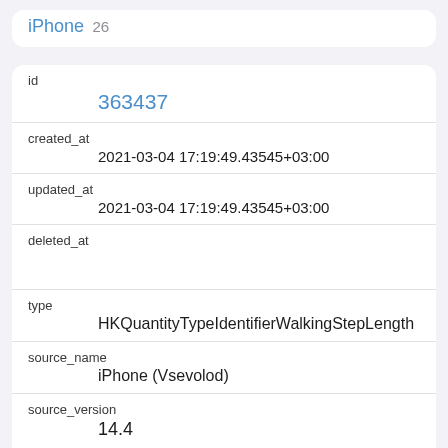iPhone 26
| id | 363437 |
| created_at | 2021-03-04 17:19:49.43545+03:00 |
| updated_at | 2021-03-04 17:19:49.43545+03:00 |
| deleted_at |  |
| type | HKQuantityTypeIdentifierWalkingStepLength |
| source_name | iPhone (Vsevolod) |
| source_version | 14.4 |
| unit | cm |
| creation_date | 2021-03-04 15:11:06+03:00 |